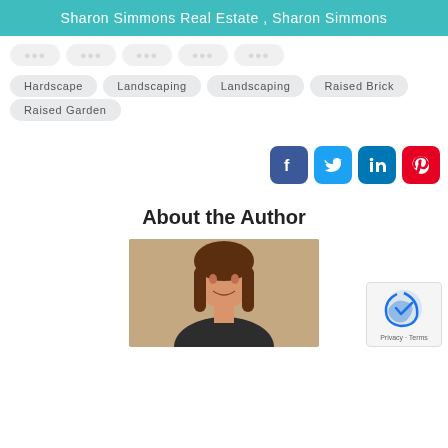Sharon Simmons Real Estate , Sharon Simmons
Hardscape
Landscaping
Landscaping
Raised Brick
Raised Garden
[Figure (infographic): Social media share icons: Facebook, Twitter, LinkedIn, Pinterest]
About the Author
[Figure (photo): Headshot photo of a woman with brown shoulder-length hair, smiling, against a light beige background]
[Figure (other): reCAPTCHA badge with Privacy and Terms text]